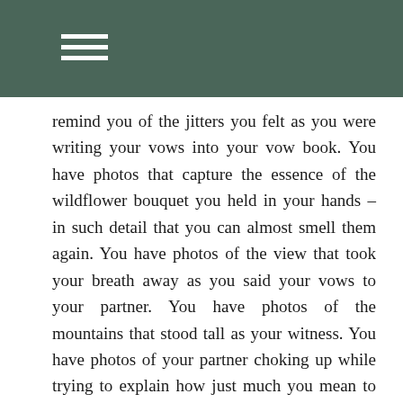remind you of the jitters you felt as you were writing your vows into your vow book. You have photos that capture the essence of the wildflower bouquet you held in your hands – in such detail that you can almost smell them again. You have photos of the view that took your breath away as you said your vows to your partner. You have photos of the mountains that stood tall as your witness. You have photos of your partner choking up while trying to explain how just much you mean to them.

Those photos tell YOUR story. And your story is the very first of its kind. Each of those photos, when selected and thoughtfully designed into a